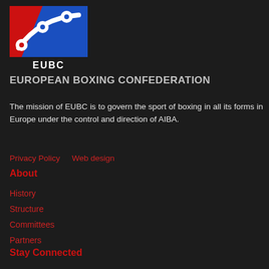[Figure (logo): EUBC European Boxing Confederation logo with red and blue design and white circles]
EUROPEAN BOXING CONFEDERATION
The mission of EUBC is to govern the sport of boxing in all its forms in Europe under the control and direction of AIBA.
Privacy Policy   Web design
About
History
Structure
Committees
Partners
Stay Connected
Twitter
Youtube